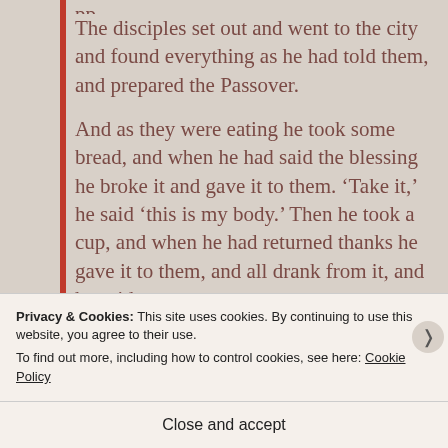The disciples set out and went to the city and found everything as he had told them, and prepared the Passover.
And as they were eating he took some bread, and when he had said the blessing he broke it and gave it to them. ‘Take it,’ he said ‘this is my body.’ Then he took a cup, and when he had returned thanks he gave it to them, and all drank from it, and he said to
Privacy & Cookies: This site uses cookies. By continuing to use this website, you agree to their use.
To find out more, including how to control cookies, see here: Cookie Policy
Close and accept